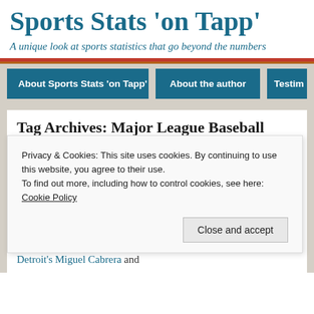Sports Stats 'on Tapp'
A unique look at sports statistics that go beyond the numbers
About Sports Stats 'on Tapp'
About the author
Testim...
Tag Archives: Major League Baseball Player Award
Privacy & Cookies: This site uses cookies. By continuing to use this website, you agree to their use.
To find out more, including how to control cookies, see here: Cookie Policy
Close and accept
Detroit's Miguel Cabrera and